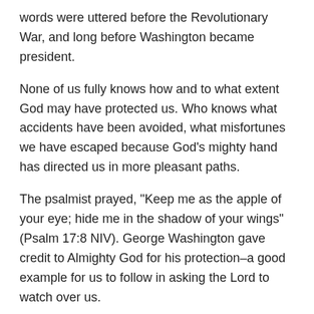words were uttered before the Revolutionary War, and long before Washington became president.
None of us fully knows how and to what extent God may have protected us. Who knows what accidents have been avoided, what misfortunes we have escaped because God’s mighty hand has directed us in more pleasant paths.
The psalmist prayed, “Keep me as the apple of your eye; hide me in the shadow of your wings” (Psalm 17:8 NIV). George Washington gave credit to Almighty God for his protection–a good example for us to follow in asking the Lord to watch over us.